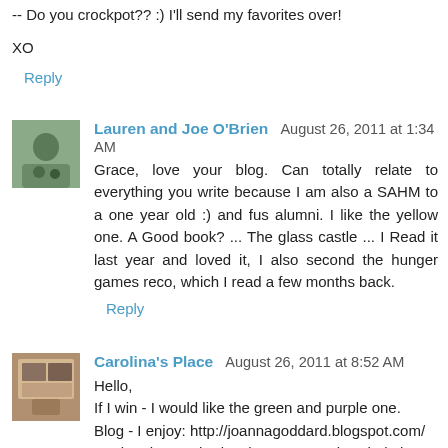-- Do you crockpot?? :) I'll send my favorites over!
XO
Reply
Lauren and Joe O'Brien  August 26, 2011 at 1:34 AM
Grace, love your blog. Can totally relate to everything you write because I am also a SAHM to a one year old :) and fus alumni. I like the yellow one. A Good book? ... The glass castle ... I Read it last year and loved it, I also second the hunger games reco, which I read a few months back.
Reply
Carolina's Place  August 26, 2011 at 8:52 AM
Hello,
If I win - I would like the green and purple one.
Blog - I enjoy: http://joannagoddard.blogspot.com/
Book - I havent had a chance to read a whole lot outside of "THe Brown Bear Snores" "B for Bulldozer". However, "The